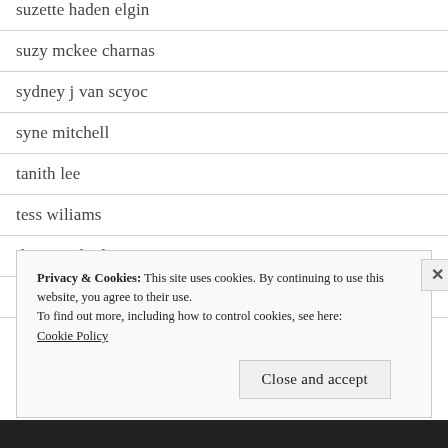suzette haden elgin
suzy mckee charnas
sydney j van scyoc
syne mitchell
tanith lee
tess wiliams
thea von harbou
tricia sullivan
Uncategorized
Privacy & Cookies: This site uses cookies. By continuing to use this website, you agree to their use.
To find out more, including how to control cookies, see here:
Cookie Policy
Close and accept